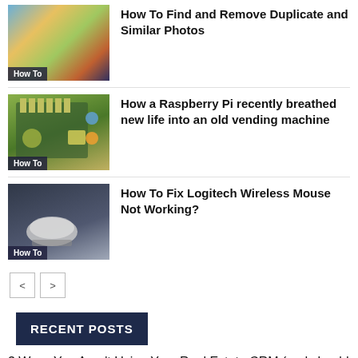[Figure (photo): Thumbnail with colorful photos and camera icon, labeled 'How To']
How To Find and Remove Duplicate and Similar Photos
[Figure (photo): Thumbnail with Raspberry Pi circuit board, labeled 'How To']
How a Raspberry Pi recently breathed new life into an old vending machine
[Figure (photo): Thumbnail with wireless mouse on dark background, labeled 'How To']
How To Fix Logitech Wireless Mouse Not Working?
< >
RECENT POSTS
3 Ways You Aren't Using Your Real Estate CRM (and should be)